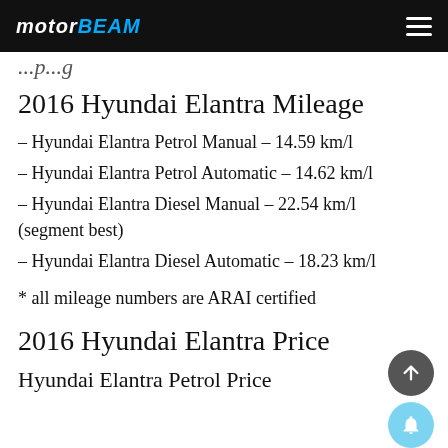MOTORBEAM
2016 Hyundai Elantra Mileage
– Hyundai Elantra Petrol Manual – 14.59 km/l
– Hyundai Elantra Petrol Automatic – 14.62 km/l
– Hyundai Elantra Diesel Manual – 22.54 km/l (segment best)
– Hyundai Elantra Diesel Automatic – 18.23 km/l
* all mileage numbers are ARAI certified
2016 Hyundai Elantra Price
Hyundai Elantra Petrol Price